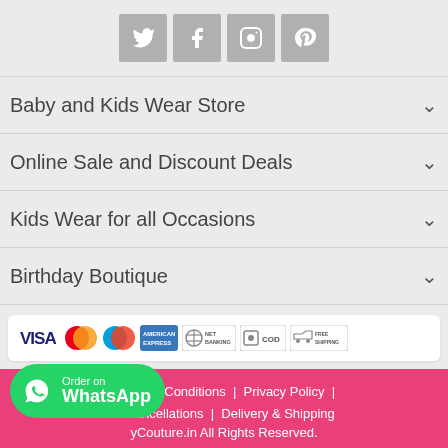[Figure (infographic): Social media icons row: Twitter, Facebook, Instagram, Pinterest — gray square buttons with white icons]
Baby and Kids Wear Store
Online Sale and Discount Deals
Kids Wear for all Occasions
Birthday Boutique
[Figure (infographic): Payment options bar: VISA, MasterCard, Maestro, American Express, NET BANKING, COD, FREE SHIPPING]
Terms & Conditions | Privacy Policy | & Cancellations | Delivery & Shipping yCouture.in All Rights Reserved.